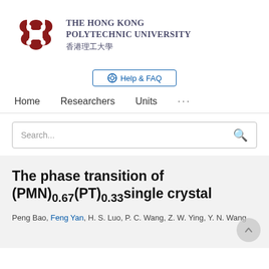[Figure (logo): The Hong Kong Polytechnic University logo with red emblem and bilingual text in English and Chinese]
Help & FAQ
Home    Researchers    Units    ...
Search...
The phase transition of (PMN)0.67(PT)0.33single crystal
Peng Bao, Feng Yan, H. S. Luo, P. C. Wang, Z. W. Ying, Y. N. Wang